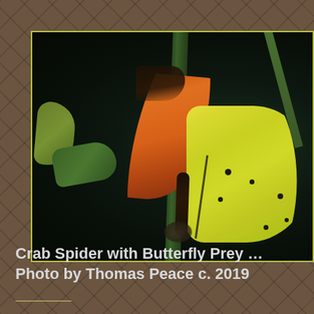[Figure (photo): Close-up nature photograph of a crab spider with butterfly prey. A yellow butterfly (with orange/black visible on one wing) is clinging to a thorny green plant stem. The background is dark green/black bokeh. A smaller green leaf or plant part is visible on the left side. The image has a yellow-green border.]
Crab Spider with Butterfly Prey … Photo by Thomas Peace c. 2019